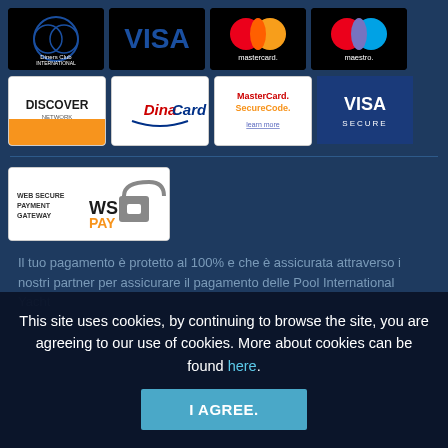[Figure (logo): Diners Club International logo]
[Figure (logo): VISA logo]
[Figure (logo): Mastercard logo]
[Figure (logo): Maestro logo]
[Figure (logo): Discover Network logo]
[Figure (logo): DinaCard logo]
[Figure (logo): MasterCard SecureCode logo with learn more link]
[Figure (logo): VISA SECURE logo]
[Figure (logo): WS Pay - Web Secure Payment Gateway logo]
Il tuo pagamento è protetto al 100% e che è assicurata attraverso i nostri partner per assicurare il pagamento delle Pool International Yacht
This site uses cookies, by continuing to browse the site, you are agreeing to our use of cookies. More about cookies can be found here.
I AGREE.